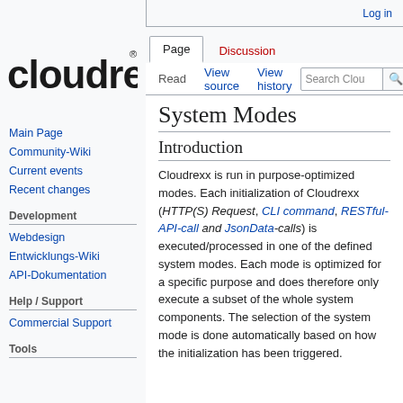Log in
[Figure (logo): Cloudrexx logo with registered trademark symbol]
Page | Discussion | Read | View source | View history | Search Cloudrexx
System Modes
Introduction
Cloudrexx is run in purpose-optimized modes. Each initialization of Cloudrexx (HTTP(S) Request, CLI command, RESTful-API-call and JsonData-calls) is executed/processed in one of the defined system modes. Each mode is optimized for a specific purpose and does therefore only execute a subset of the whole system components. The selection of the system mode is done automatically based on how the initialization has been triggered.
Main Page
Community-Wiki
Current events
Recent changes
Development
Webdesign
Entwicklungs-Wiki
API-Dokumentation
Help / Support
Commercial Support
Tools